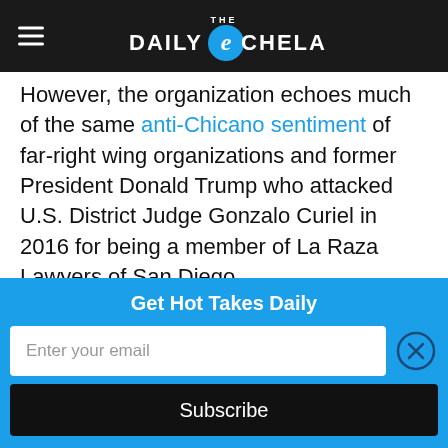THE DAILY ECHELA
However, the organization echoes much of the same anti-Chicano sentiment of far-right wing organizations and former President Donald Trump who attacked U.S. District Judge Gonzalo Curiel in 2016 for being a member of La Raza Lawyers of San Diego.
Such misinformation, taking into account the size of the organization’s social media following, has the potential to fan additional
Get Hot Takes Daily
Enter your email
Subscribe